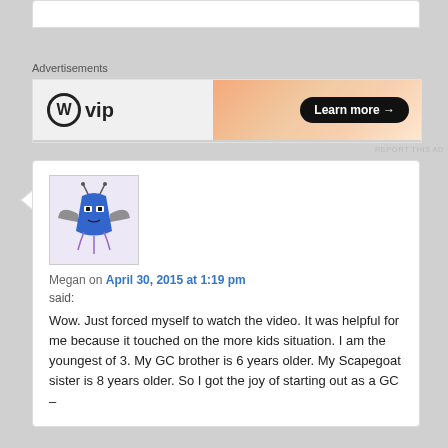Advertisements
[Figure (other): WordPress VIP advertisement banner with logo on left and peach/orange gradient on right with 'Learn more' button]
REPORT THIS AD
[Figure (illustration): Blue alien/monster cartoon avatar with bat wings, antennae, and tentacles on a light purple background]
Megan on April 30, 2015 at 1:19 pm
said:
Wow. Just forced myself to watch the video. It was helpful for me because it touched on the more kids situation. I am the youngest of 3. My GC brother is 6 years older. My Scapegoat sister is 8 years older. So I got the joy of starting out as a GC –